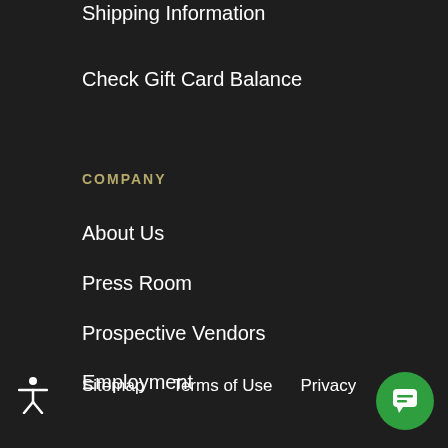Shipping Information
Check Gift Card Balance
COMPANY
About Us
Press Room
Prospective Vendors
Employment
Accessibility
Sitemap   Terms of Use   Privacy